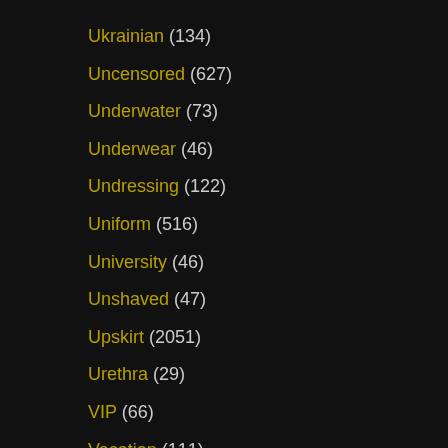Ukrainian (134)
Uncensored (627)
Underwater (73)
Underwear (46)
Undressing (122)
Uniform (516)
University (46)
Unshaved (47)
Upskirt (2051)
Urethra (29)
VIP (66)
Vacation (111)
Vacuum (39)
Vampire (33)
Van (130)